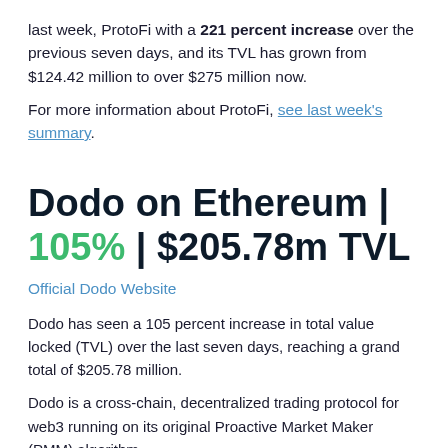last week, ProtoFi with a 221 percent increase over the previous seven days, and its TVL has grown from $124.42 million to over $275 million now.
For more information about ProtoFi, see last week's summary.
Dodo on Ethereum | 105% | $205.78m TVL
Official Dodo Website
Dodo has seen a 105 percent increase in total value locked (TVL) over the last seven days, reaching a grand total of $205.78 million.
Dodo is a cross-chain, decentralized trading protocol for web3 running on its original Proactive Market Maker (PMM) algorithm,